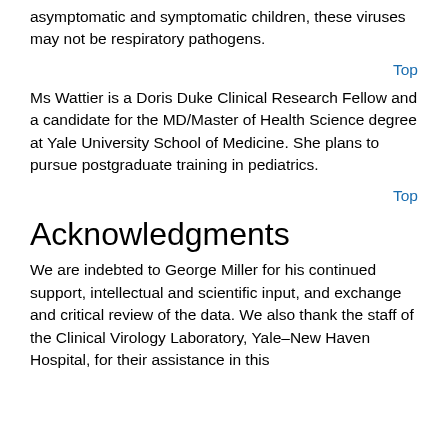asymptomatic and symptomatic children, these viruses may not be respiratory pathogens.
Top
Ms Wattier is a Doris Duke Clinical Research Fellow and a candidate for the MD/Master of Health Science degree at Yale University School of Medicine. She plans to pursue postgraduate training in pediatrics.
Top
Acknowledgments
We are indebted to George Miller for his continued support, intellectual and scientific input, and exchange and critical review of the data. We also thank the staff of the Clinical Virology Laboratory, Yale–New Haven Hospital, for their assistance in this